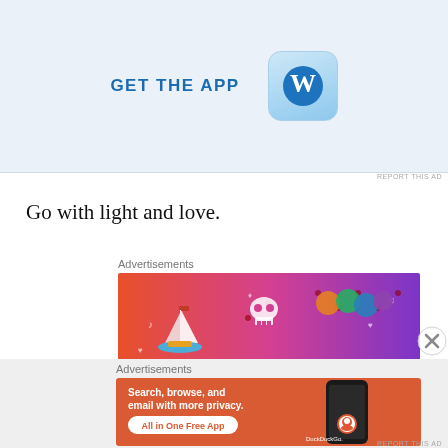[Figure (screenshot): WordPress app advertisement banner with light blue background showing 'GET THE APP' text in bold blue and WordPress logo icon]
REPORT THIS AD
Go with light and love.
Advertisements
[Figure (screenshot): Fandom advertisement with colorful gradient background (orange to purple) showing 'FANDOM ON' text with cartoon stickers including a sailboat, skull, and decorative elements]
Advertisements
[Figure (screenshot): DuckDuckGo advertisement on orange background with text 'Search, browse, and email with more privacy. All in One Free App' and a phone showing DuckDuckGo app]
REPORT THIS AD